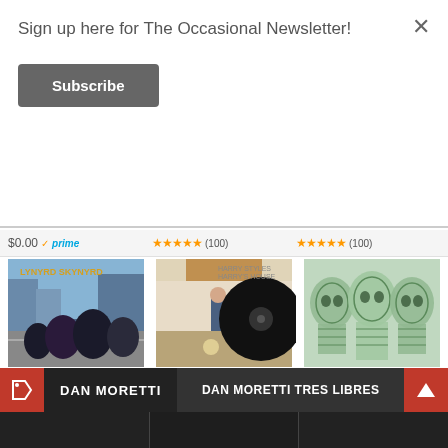Sign up here for The Occasional Newsletter!
Subscribe
[Figure (screenshot): Partially visible product row with prices and prime badges and star ratings]
[Figure (photo): Album cover: (Pronounced 'Leh-'nerd 'Skin-'nerd) [LP] - group photo on street]
(Pronounced 'Leh-'nerd 'Skin-'nerd) [LP]
$24.98 prime (2520)
[Figure (photo): Album cover: Harry's House - person in room with vinyl record overlay]
Harry's House
$31.49 prime (4036)
[Figure (photo): Album cover: Supergrass (Neon Orange Vinyl) - X-ray style green skulls]
Supergrass (Neon Orange Vinyl)
$29.98 prime (11)
Ads by Amazon
DAN MORETTI
DAN MORETTI TRES LIBRES